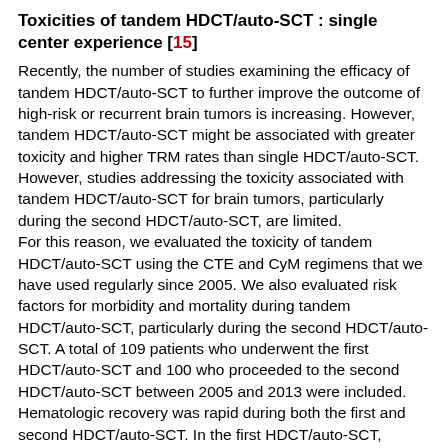Toxicities of tandem HDCT/auto-SCT : single center experience [15]
Recently, the number of studies examining the efficacy of tandem HDCT/auto-SCT to further improve the outcome of high-risk or recurrent brain tumors is increasing. However, tandem HDCT/auto-SCT might be associated with greater toxicity and higher TRM rates than single HDCT/auto-SCT. However, studies addressing the toxicity associated with tandem HDCT/auto-SCT for brain tumors, particularly during the second HDCT/auto-SCT, are limited. For this reason, we evaluated the toxicity of tandem HDCT/auto-SCT using the CTE and CyM regimens that we have used regularly since 2005. We also evaluated risk factors for morbidity and mortality during tandem HDCT/auto-SCT, particularly during the second HDCT/auto-SCT. A total of 109 patients who underwent the first HDCT/auto-SCT and 100 who proceeded to the second HDCT/auto-SCT between 2005 and 2013 were included. Hematologic recovery was rapid during both the first and second HDCT/auto-SCT. In the first HDCT/auto-SCT, mucositis-related gastrointestinal toxicity was frequent, and two (1.8%) patients died from toxicity (one from hepatic VOD and the other from sepsis). In the second HDCT/auto-SCT, gastrointestinal toxicity was milder than in the first, and